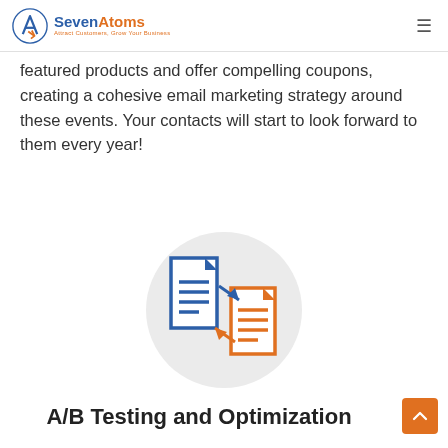SevenAtoms — Attract Customers, Grow Your Business
featured products and offer compelling coupons, creating a cohesive email marketing strategy around these events. Your contacts will start to look forward to them every year!
[Figure (illustration): A/B testing illustration showing two document icons (one blue, one orange) connected by arrows, inside a light grey circle]
A/B Testing and Optimization